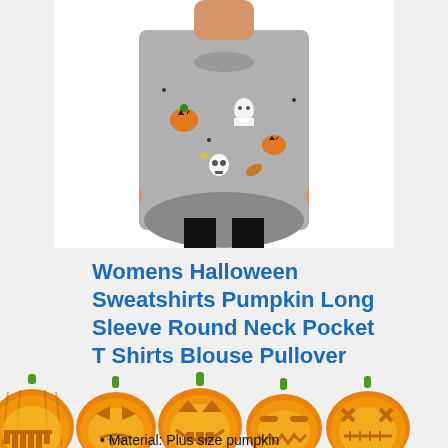[Figure (photo): Woman wearing a gray Halloween-themed sweatshirt with pumpkins, ghosts, and other Halloween motifs printed on it, holding a metallic cup. White background.]
Womens Halloween Sweatshirts Pumpkin Long Sleeve Round Neck Pocket T Shirts Blouse Pullover
[Figure (illustration): A row of five glowing orange jack-o-lantern pumpkins with different carved faces and green stems against a light gray background.]
Material: Plus size pumpkin